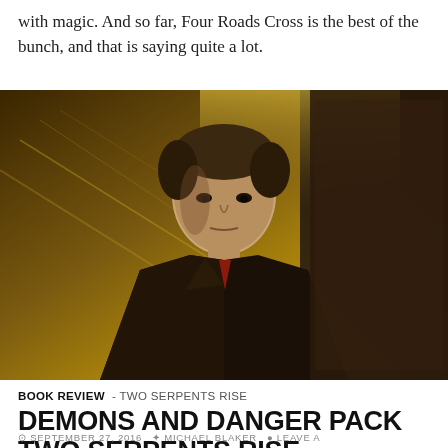with magic. And so far, Four Roads Cross is the best of the bunch, and that is saying quite a lot.
[Figure (photo): A young man in dark clothing looking intensely at the camera, set against a golden-toned atmospheric background suggesting an urban fantasy setting.]
BOOK REVIEW - TWO SERPENTS RISE
DEMONS AND DANGER PACK TWO SERPENTS RISE
SEPTEMBER 27, 2016   MICHAEL BLAKER   LEAVE A